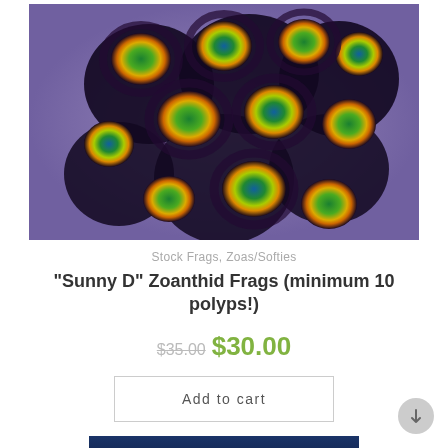[Figure (photo): Close-up photo of Zoanthid coral frags ('Sunny D' variety) showing multiple polyps with green centers, orange/yellow outer rings, and dark purple/black tentacles on a purple-tinted background]
Stock Frags, Zoas/Softies
“Sunny D” Zoanthid Frags (minimum 10 polyps!)
$35.00 $30.00
Add to cart
[Figure (photo): Partial view of another product photo showing a blue-lit coral/aquarium scene]